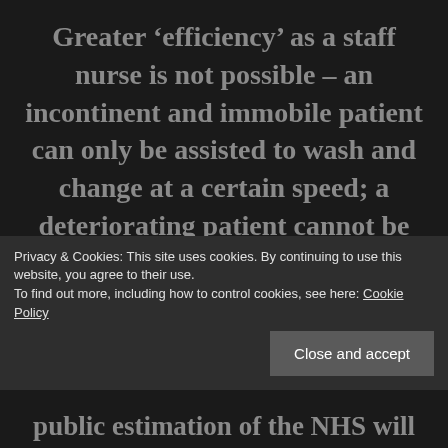Greater ‘efficiency’ as a staff nurse is not possible – an incontinent and immobile patient can only be assisted to wash and change at a certain speed; a deteriorating patient cannot be closely monitored if you are simultaneously caring for a patient in severe pain, a patient
Privacy & Cookies: This site uses cookies. By continuing to use this website, you agree to their use. To find out more, including how to control cookies, see here: Cookie Policy
public estimation of the NHS will